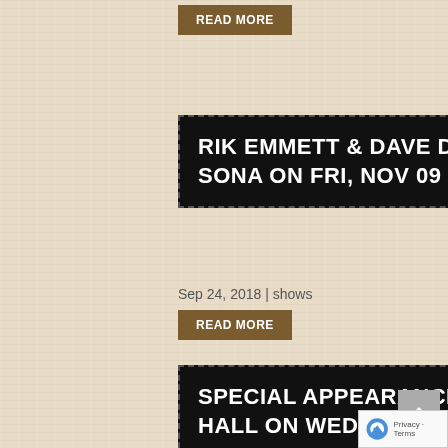READ MORE
RIK EMMETT & DAVE DUNLOP AT THE LOCKS AT SONA ON FRI, NOV 09 2018
Sep 24, 2018 | shows
READ MORE
SPECIAL APPEARANCE AT WOLF PERFORMANCE HALL ON WED, NOV 28 2018
Aug 31, 2018 | shows
READ MORE